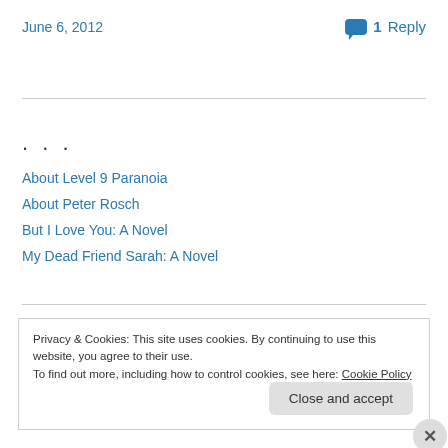June 6, 2012
1 Reply
...
About Level 9 Paranoia
About Peter Rosch
But I Love You: A Novel
My Dead Friend Sarah: A Novel
Privacy & Cookies: This site uses cookies. By continuing to use this website, you agree to their use. To find out more, including how to control cookies, see here: Cookie Policy
Close and accept